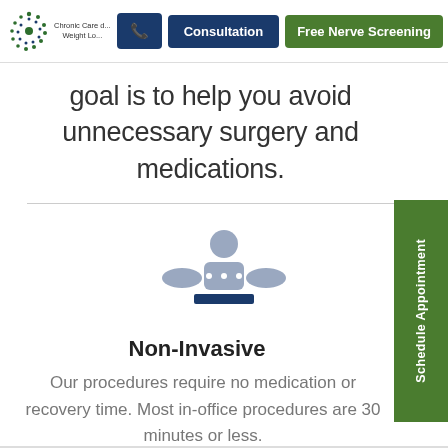Chronic Care ... | Weight Lo... | Consultation | Free Nerve Screening
goal is to help you avoid unnecessary surgery and medications.
[Figure (illustration): Icon of a person receiving chiropractic or physical therapy treatment — gray figure with arms extended and a bar beneath, representing a non-invasive procedure]
Non-Invasive
Our procedures require no medication or recovery time. Most in-office procedures are 30 minutes or less.